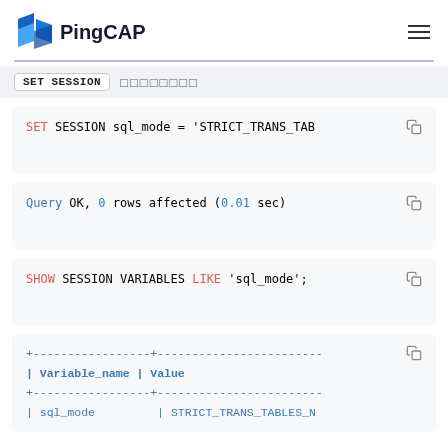PingCAP
SET SESSION
SET SESSION sql_mode = 'STRICT_TRANS_TAB
Query OK, 0 rows affected (0.01 sec)
SHOW SESSION VARIABLES LIKE 'sql_mode';
+-----------------+------------------------+
| Variable_name | Value
+-----------------+------------------------+
| sql_mode        | STRICT_TRANS_TABLES_N